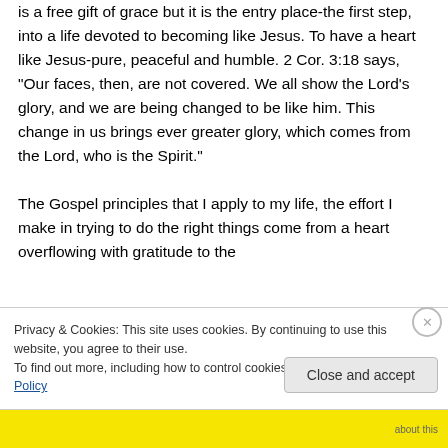is a free gift of grace but it is the entry place-the first step, into a life devoted to becoming like Jesus. To have a heart like Jesus-pure, peaceful and humble. 2 Cor. 3:18 says, “Our faces, then, are not covered. We all show the Lord’s glory, and we are being changed to be like him. This change in us brings ever greater glory, which comes from the Lord, who is the Spirit.” The Gospel principles that I apply to my life, the effort I make in trying to do the right things come from a heart overflowing with gratitude to the
Privacy & Cookies: This site uses cookies. By continuing to use this website, you agree to their use.
To find out more, including how to control cookies, see here: Cookie Policy
Close and accept